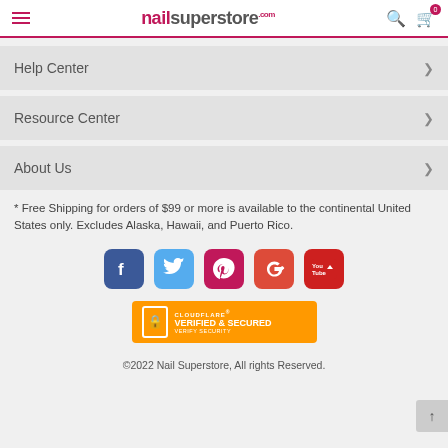nailsuperstore.com
Help Center
Resource Center
About Us
* Free Shipping for orders of $99 or more is available to the continental United States only. Excludes Alaska, Hawaii, and Puerto Rico.
[Figure (other): Social media icons: Facebook, Twitter, Pinterest, Google+, YouTube]
[Figure (other): Cloudflare Verified & Secured badge]
©2022 Nail Superstore, All rights Reserved.